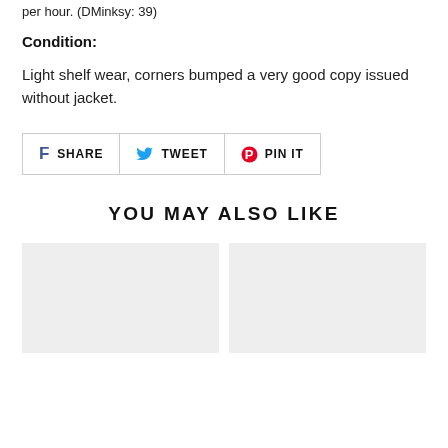per hour. (DMinksy: 39)
Condition:
Light shelf wear, corners bumped a very good copy issued without jacket.
[Figure (infographic): Social sharing buttons: SHARE (Facebook), TWEET (Twitter), PIN IT (Pinterest)]
YOU MAY ALSO LIKE
[Figure (photo): Thumbnail placeholder image 1 (light gray box)]
[Figure (photo): Thumbnail placeholder image 2 (light gray box)]